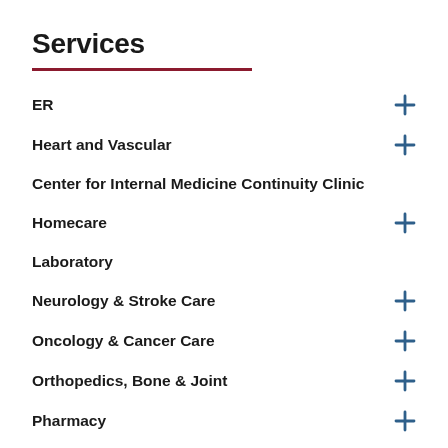Services
ER
Heart and Vascular
Center for Internal Medicine Continuity Clinic
Homecare
Laboratory
Neurology & Stroke Care
Oncology & Cancer Care
Orthopedics, Bone & Joint
Pharmacy